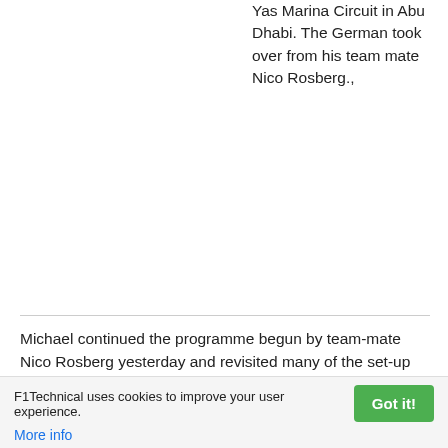Yas Marina Circuit in Abu Dhabi. The German took over from his team mate Nico Rosberg.,
Michael continued the programme begun by team-mate Nico Rosberg yesterday and revisited many of the set-up evaluations to further improve the team's understanding of the new tyres.
Michael Schumacher: "Today was my first day of testing for 2011 and I feel that we had an interesting session. We gathered a lot of data and insights, and have positive feedback from our first impression of the new tyres. I am probably the only driver to have driven with Pirelli tyres
F1Technical uses cookies to improve your user experience. More info